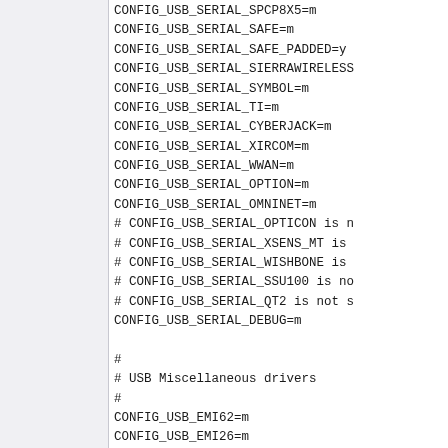CONFIG_USB_SERIAL_SPCP8X5=m
CONFIG_USB_SERIAL_SAFE=m
CONFIG_USB_SERIAL_SAFE_PADDED=y
CONFIG_USB_SERIAL_SIERRAWIRELESS
CONFIG_USB_SERIAL_SYMBOL=m
CONFIG_USB_SERIAL_TI=m
CONFIG_USB_SERIAL_CYBERJACK=m
CONFIG_USB_SERIAL_XIRCOM=m
CONFIG_USB_SERIAL_WWAN=m
CONFIG_USB_SERIAL_OPTION=m
CONFIG_USB_SERIAL_OMNINET=m
# CONFIG_USB_SERIAL_OPTICON is n
# CONFIG_USB_SERIAL_XSENS_MT is
# CONFIG_USB_SERIAL_WISHBONE is
# CONFIG_USB_SERIAL_SSU100 is no
# CONFIG_USB_SERIAL_QT2 is not s
CONFIG_USB_SERIAL_DEBUG=m

#
# USB Miscellaneous drivers
#
CONFIG_USB_EMI62=m
CONFIG_USB_EMI26=m
CONFIG_USB_ADUTUX=m
# CONFIG_USB_SEVSEG is not set
CONFIG_USB_LEGOTOWER=m
CONFIG_USB_LCD=m
CONFIG_USB_LED=m
# CONFIG_USB_CYPRESS_CY7C63 is n
# CONFIG_USB_CYTHERM is not set
CONFIG_USB_IDMOUSE=m
CONFIG_USB_FTDI_ELAN=m